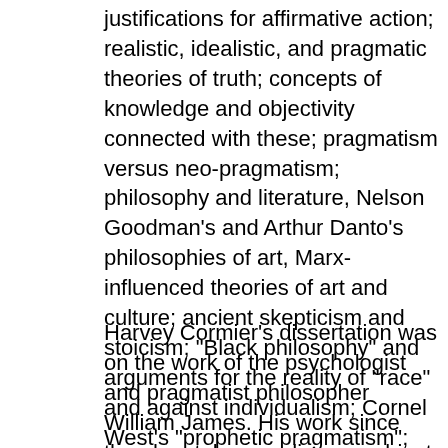justifications for affirmative action; realistic, idealistic, and pragmatic theories of truth; concepts of knowledge and objectivity connected with these; pragmatism versus neo-pragmatism; philosophy and literature, Nelson Goodman's and Arthur Danto's philosophies of art, Marx-influenced theories of art and culture; ancient skepticism and stoicism; "Black philosophy" and arguments for the reality of "race" and against individualism; Cornel West's "prophetic pragmatism"; Peter Singer's comparisons of racism with "speciesism."
Harvey Cormier's dissertation was on the work of the psychologist and pragmatist philosopher William James. His work since then has taken on diverse subject matters such as Cornel West's Marx-influenced criticisms of James; Nietzsche on